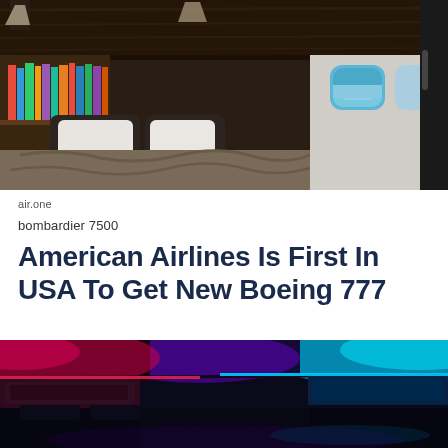[Figure (photo): Interior of a private jet showing a made bed with white pillows and grey duvet, dark wood paneling, bookshelf with colourful books, and oval windows with blue sky view]
air.one
bombardier 7500
American Airlines Is First In USA To Get New Boeing 777
[Figure (photo): Aircraft cabin interior with dramatic blue and red LED mood lighting on the ceiling and overhead bins]